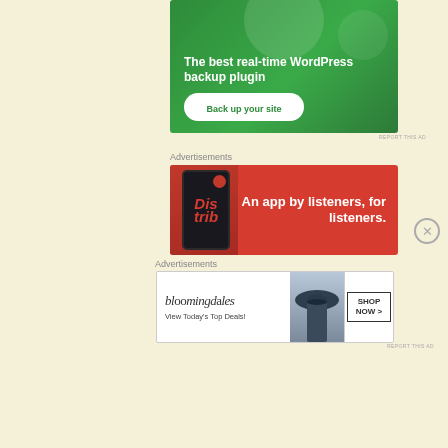[Figure (illustration): Green advertisement banner for WordPress backup plugin with text 'The best real-time WordPress backup plugin' and a 'Back up your site' button]
REPORT THIS AD
Advertisements
[Figure (illustration): Red advertisement banner for a podcast/listener app showing a phone with 'Distrib' text and tagline 'An app by listeners, for listeners.']
Advertisements
[Figure (illustration): Bloomingdales advertisement banner with logo text 'bloomingdales', 'View Today's Top Deals!' text, woman with hat image, and 'SHOP NOW >' button]